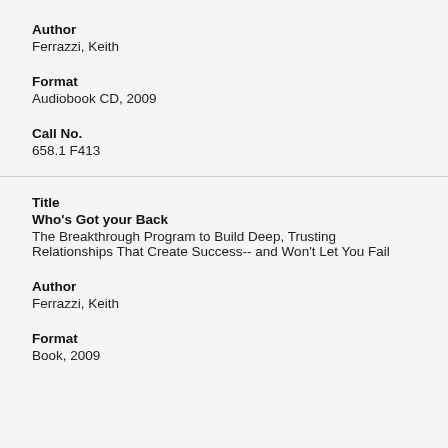Author
Ferrazzi, Keith
Format
Audiobook CD, 2009
Call No.
658.1 F413
Title
Who's Got your Back
The Breakthrough Program to Build Deep, Trusting Relationships That Create Success-- and Won't Let You Fail
Author
Ferrazzi, Keith
Format
Book, 2009